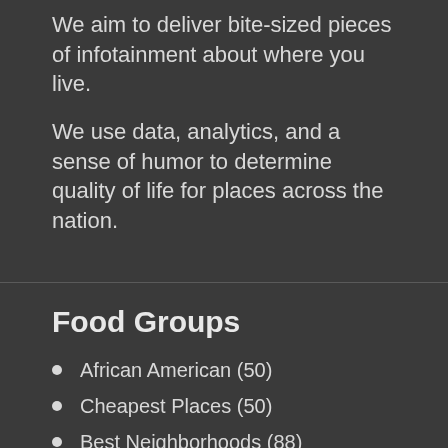We aim to deliver bite-sized pieces of infotainment about where you live.
We use data, analytics, and a sense of humor to determine quality of life for places across the nation.
Food Groups
African American (50)
Cheapest Places (50)
Best Neighborhoods (88)
Best Places To Live (58)
Best Small Towns Places (32)
Most Dangerous Cities (50)